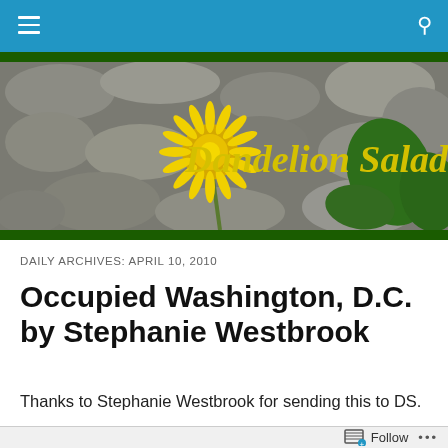Navigation bar with menu and search icons
[Figure (photo): Photo of a yellow dandelion flower on rocky ground with green leaves, serving as the site banner for 'Dandelion Salad']
Dandelion Salad
DAILY ARCHIVES: APRIL 10, 2010
Occupied Washington, D.C. by Stephanie Westbrook
Thanks to Stephanie Westbrook for sending this to DS.
Follow